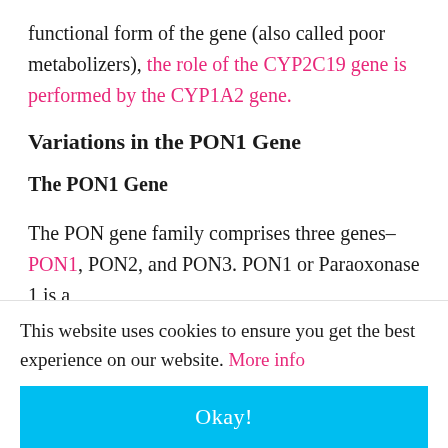functional form of the gene (also called poor metabolizers), the role of the CYP2C19 gene is performed by the CYP1A2 gene.
Variations in the PON1 Gene
The PON1 Gene
The PON gene family comprises three genes– PON1, PON2, and PON3. PON1 or Paraoxonase 1 is a
This website uses cookies to ensure you get the best experience on our website. More info
Okay!